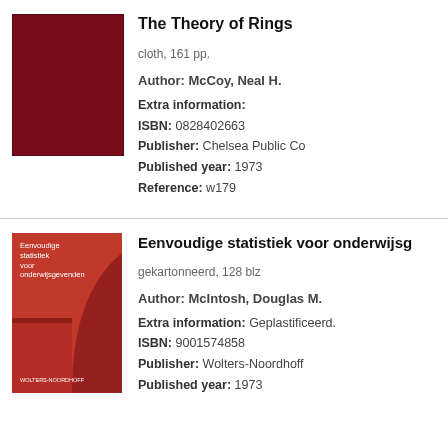[Figure (photo): Dark red/maroon hardcover book, plain cover, no visible title on front]
The Theory of Rings
cloth, 161 pp.
Author: McCoy, Neal H.
Extra information:
ISBN: 0828402663
Publisher: Chelsea Public Co
Published year: 1973
Reference: w179
[Figure (photo): Red book cover with title 'Eenvoudige statistiek voor onderwijsgevenden' and geometric arc design]
Eenvoudige statistiek voor onderwijsg
gekartonneerd, 128 blz
Author: McIntosh, Douglas M.
Extra information: Geplastificeerd.
ISBN: 9001574858
Publisher: Wolters-Noordhoff
Published year: 1973